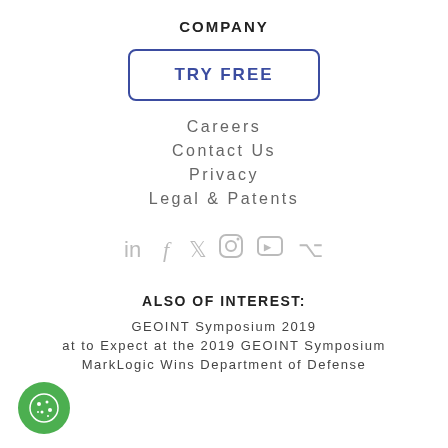COMPANY
TRY FREE
Careers
Contact Us
Privacy
Legal & Patents
[Figure (illustration): Social media icons: LinkedIn, Facebook, Twitter, Instagram, YouTube, GitHub]
ALSO OF INTEREST:
GEOINT Symposium 2019
at to Expect at the 2019 GEOINT Symposium
MarkLogic Wins Department of Defense
[Figure (illustration): Cookie consent button (green circle with cookie icon)]